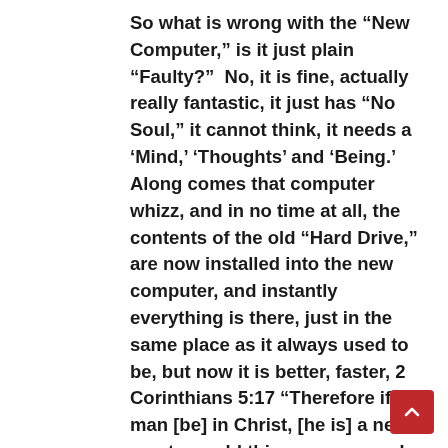So what is wrong with the “New Computer,” is it just plain “Faulty?”  No, it is fine, actually really fantastic, it just has “No Soul,” it cannot think, it needs a ‘Mind,’ ‘Thoughts’ and ‘Being.’  Along comes that computer whizz, and in no time at all, the contents of the old “Hard Drive,” are now installed into the new computer, and instantly everything is there, just in the same place as it always used to be, but now it is better, faster, 2 Corinthians 5:17 “Therefore if any man [be] in Christ, [he is] a new creature: old things are passed away; behold, all things are become new.”  Your new Computer now has a “Soul” as all that used to be in the tired worn out old one, is